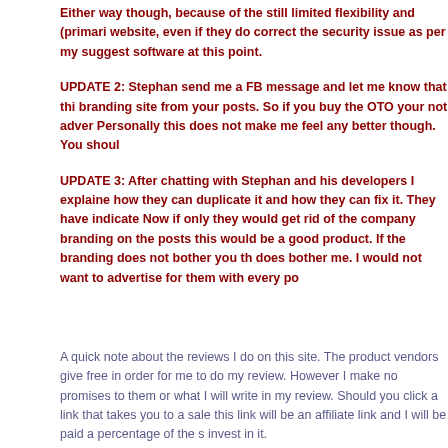Either way though, because of the still limited flexibility and (primari... website, even if they do correct the security issue as per my suggest... software at this point.
UPDATE 2: Stephan send me a FB message and let me know that thi... branding site from your posts. So if you buy the OTO your not adver... Personally this does not make me feel any better though. You shoul...
UPDATE 3: After chatting with Stephan and his developers I explaine... how they can duplicate it and how they can fix it. They have indicate... Now if only they would get rid of the company branding on the posts... this would be a good product. If the branding does not bother you th... does bother me. I would not want to advertise for them with every po...
A quick note about the reviews I do on this site. The product vendors give... free in order for me to do my review. However I make no promises to them... or what I will write in my review. Should you click a link that takes you to a... sale this link will be an affiliate link and I will be paid a percentage of the s... invest in it.